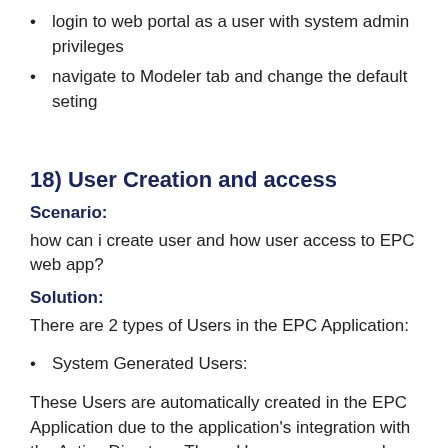login to web portal as a user with system admin privileges
navigate to Modeler tab and change the default seting
18) User Creation and access
Scenario:
how can i create user and how user access to EPC web app?
Solution:
There are 2 types of Users in the EPC Application:
System Generated Users:
These Users are automatically created in the EPC Application due to the application’s integration with the Active Directory. These Users are managed from the Active Directory. Hence, managing these Users is not possible in the EPC Administrative portal. You will have to do this from your Active